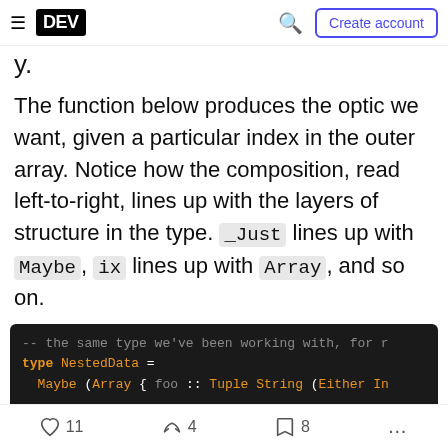DEV | Search | Create account
y.
The function below produces the optic we want, given a particular index in the outer array. Notice how the composition, read left-to-right, lines up with the layers of structure in the type. _Just lines up with Maybe, ix lines up with Array, and so on.
[Figure (screenshot): Dark code block showing Haskell code: type NestedData = Maybe (Array { foo :: Tuple String (Either In... and _NestedInt :: Int -> Traversal' NestedData Int with comments]
11 likes  4 unicorns  8 bookmarks